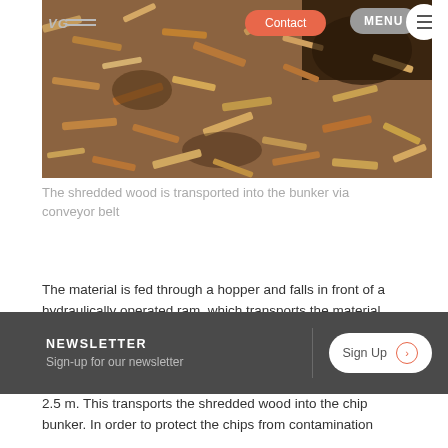[Figure (photo): Aerial close-up of shredded wood chips/mulch in a pile, with navigation bar overlaid on top showing Contact button, MENU label, and hamburger icon]
The shredded wood is transported into the bunker via conveyor belt
The material is fed through a hopper and falls in front of a hydraulically operated ram, which transports the material horizontally to the rotor. The material is then shredded between the rotor and the fixed stationary counter knives
NEWSLETTER
Sign-up for our newsletter
2.5 m. This transports the shredded wood into the chip bunker. In order to protect the chips from contamination